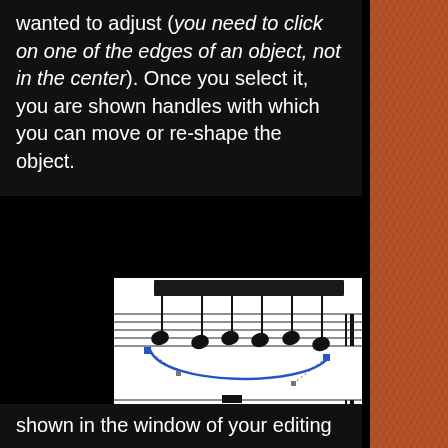wanted to adjust (you need to click on one of the edges of an object, not in the center). Once you select it, you are shown handles with which you can move or re-shape the object.
[Figure (illustration): Sheet music notation showing multiple notes on a staff with a blue curved slur/tie arc below the notes. The slur has handle points shown with small square dots and dotted lines indicating it is selected for editing. A thick black beam connects the note stems at the top. There is a double bar line on the right side of the staff.]
shown in the window of your editing